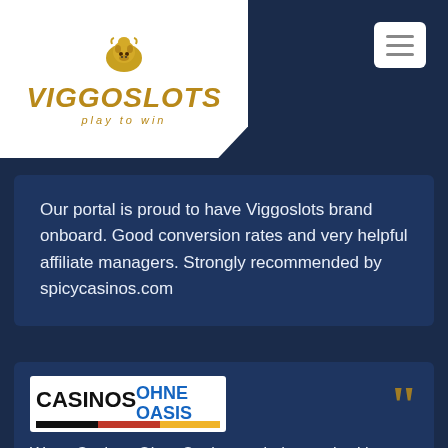[Figure (logo): ViggoSlots logo - gold bulldog mascot, gold italic text VIGGOSLOTS, tagline 'play to win']
Our portal is proud to have Viggoslots brand onboard. Good conversion rates and very helpful affiliate managers. Strongly recommended by spicycasinos.com
[Figure (logo): Casinos Ohne Oasis logo - black bold CASINOS, blue bold OHNE OASIS, German flag stripe bar underneath]
We at Casinos Ohne Oasis are glad to work with Denis from Viggoslots, who's a true professional and always ready to help. We highly recommend!